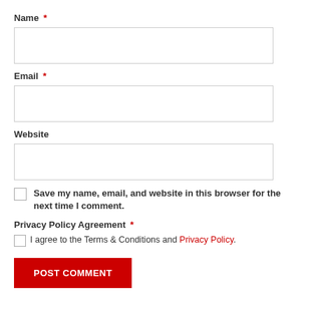Name *
Email *
Website
Save my name, email, and website in this browser for the next time I comment.
Privacy Policy Agreement *
I agree to the Terms & Conditions and Privacy Policy.
POST COMMENT